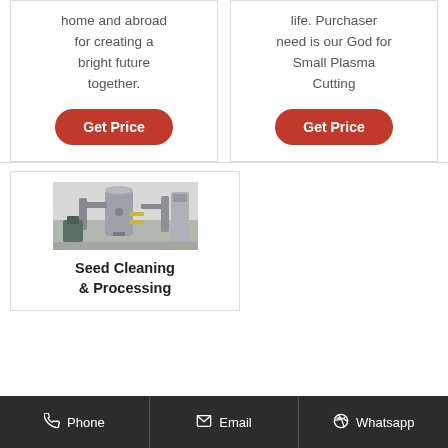home and abroad for creating a bright future together.
Get Price
life. Purchaser need is our God for Small Plasma Cutting
Get Price
[Figure (photo): Industrial seed cleaning and processing machinery in a facility]
Seed Cleaning & Processing
Phone   Email   Whatsapp